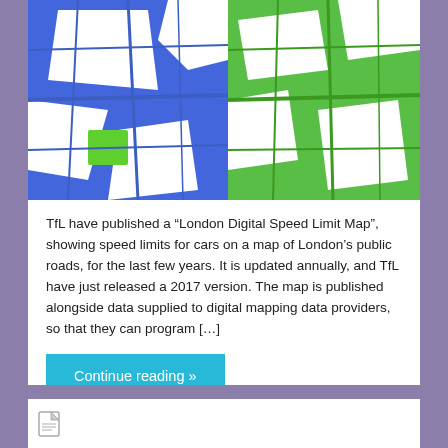[Figure (map): A digital map of London showing road networks, with streets rendered in bright blue and green on a white background. Green areas appear to represent lower speed limit zones or specific boroughs, while blue represents other road networks.]
TfL have published a “London Digital Speed Limit Map”, showing speed limits for cars on a map of London’s public roads, for the last few years. It is updated annually, and TfL have just released a 2017 version. The map is published alongside data supplied to digital mapping data providers, so that they can program […]
Continue reading »
20mph, borough, boroughs, cars, data, speed limit, speed limits
[Figure (other): Partial view of another blog post card with a document icon visible at the bottom of the page.]